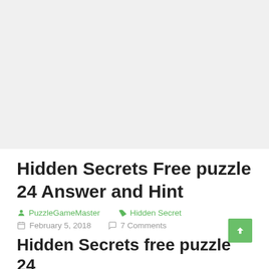[Figure (other): Advertisement/banner placeholder area, light gray background]
Hidden Secrets Free puzzle 24 Answer and Hint
PuzzleGameMaster   Hidden Secret
February 5, 2018   7 Comments
Hidden Secrets free puzzle 24